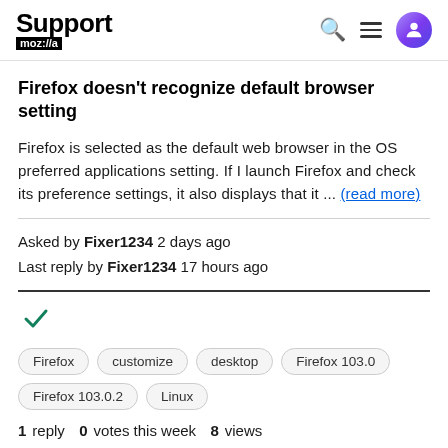Support mozilla
Firefox doesn't recognize default browser setting
Firefox is selected as the default web browser in the OS preferred applications setting. If I launch Firefox and check its preference settings, it also displays that it ... (read more)
Asked by Fixer1234 2 days ago
Last reply by Fixer1234 17 hours ago
[Figure (other): Green checkmark icon indicating resolved/answered]
Tags: Firefox, customize, desktop, Firefox 103.0, Firefox 103.0.2, Linux
1 reply  0 votes this week  8 views